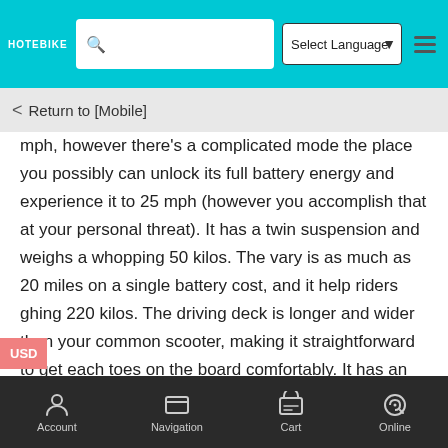HOTEBIKE | Select Language | Search
Return to [Mobile]
mph, however there's a complicated mode the place you possibly can unlock its full battery energy and experience it to 25 mph (however you accomplish that at your personal threat). It has a twin suspension and weighs a whopping 50 kilos. The vary is as much as 20 miles on a single battery cost, and it help riders ghing 220 kilos. The driving deck is longer and wider than your common scooter, making it straightforward to get each toes on the board comfortably. It has an IPX4 ranking.

The scooter will get its title from its 8-inch vast tires. The tires are nice for staying upright throughout a experience, however turns take some getting used to with the tires. In contrast to many of the
Account | Navigation | Cart | Online